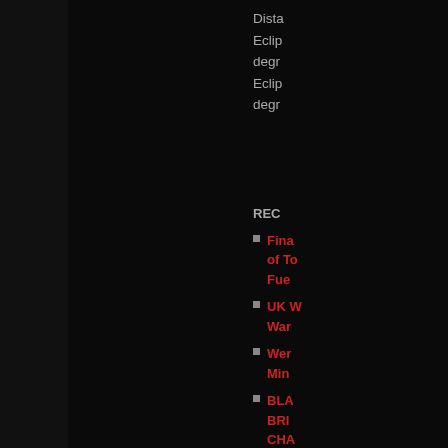Dista... Eclip... degr... Eclip... degr...
REC...
Fina... of To... Fue...
UK W... War...
Wer... Min...
BLA... BRI... CHA... WE...
Pow... Ma...